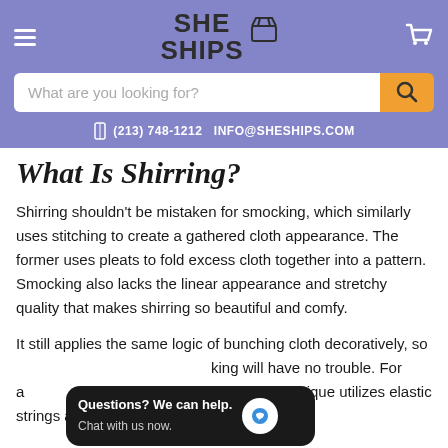[Figure (logo): She Ships logo with box icon, displayed on purple header background]
What are you looking for? (search bar)
(213) 748-1212  INFO@SHESHIPS.COM
What Is Shirring?
Shirring shouldn't be mistaken for smocking, which similarly uses stitching to create a gathered cloth appearance. The former uses pleats to fold excess cloth together into a pattern. Smocking also lacks the linear appearance and stretchy quality that makes shirring so beautiful and comfy.
It still applies the same logic of bunching cloth decoratively, so [smocking will have no trouble. For a] not to worry! This technique utilizes elastic strings and bands along with
Questions? We can help. Chat with us now.